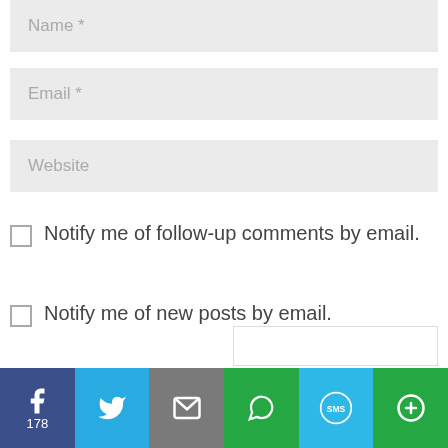Name *
Email *
Website
Notify me of follow-up comments by email.
Notify me of new posts by email.
[Figure (infographic): Social share bar with icons for Facebook (178), Twitter, Email, WhatsApp, SMS, and More]